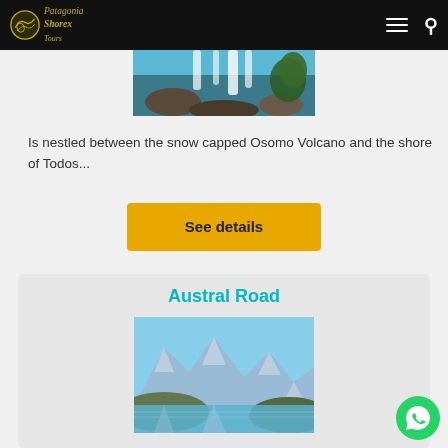Patagonia Shorex Tours
[Figure (photo): Waterfall with blue-green rushing water and rocks]
Is nestled between the snow capped Osomo Volcano and the shore of Todos...
See details
Austral Road
[Figure (photo): Snow-capped mountains reflected in a lake, Patagonia landscape]